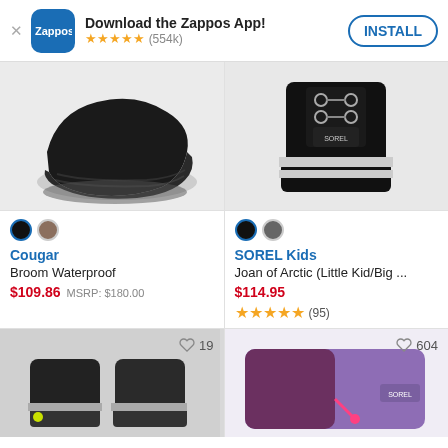Download the Zappos App! ★★★★★ (554k)  INSTALL
[Figure (photo): Black suede boot sole close-up from below on light gray background]
[Figure (photo): Black SOREL kids winter boot with gray lace hardware on white background]
Cougar
Broom Waterproof
$109.86  MSRP: $180.00
SOREL Kids
Joan of Arctic (Little Kid/Big ...
$114.95
★★★★★ (95)
[Figure (photo): Black kids boots with gray sole trim and yellow accent on gray background, heart 19]
[Figure (photo): Purple and maroon SOREL kids winter gear on white background, heart 604]